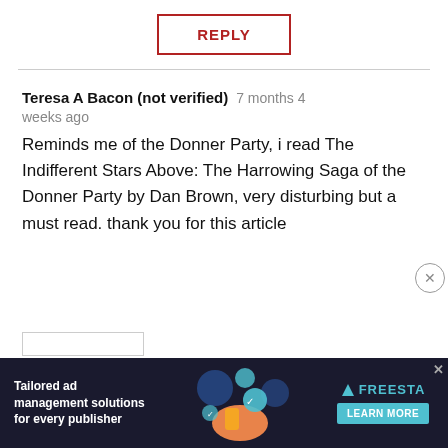REPLY
Teresa A Bacon (not verified)    7 months 4 weeks ago
Reminds me of the Donner Party, i read The Indifferent Stars Above: The Harrowing Saga of the Donner Party by Dan Brown, very disturbing but a must read. thank you for this article
[Figure (screenshot): Advertisement banner: dark background with illustration of person and tech icons. Text: Tailored ad management solutions for every publisher. FREESTA logo with LEARN MORE button.]